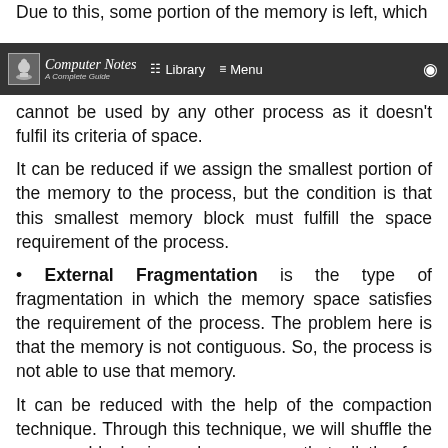Due to this, some portion of the memory is left, which cannot be used by any other process as it doesn't fulfil its criteria of space.
Computer Notes — A Complete Guide | Library | Menu | Search
It can be reduced if we assign the smallest portion of the memory to the process, but the condition is that this smallest memory block must fulfill the space requirement of the process.
• External Fragmentation is the type of fragmentation in which the memory space satisfies the requirement of the process. The problem here is that the memory is not contiguous. So, the process is not able to use that memory.
It can be reduced with the help of the compaction technique. Through this technique, we will shuffle the memory blocks in such a way so that all the free memory space get merged and converted into a large memory block which can be used by the process. This is shown in diagram below.